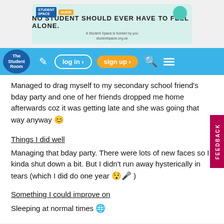[Figure (screenshot): Student Space ad banner: 'NO STUDENT SHOULD EVER HAVE TO FEEL ALONE.' with teal background]
[Figure (screenshot): The Student Room navigation bar with log in and sign up buttons]
Managed to drag myself to my secondary school friend's bday party and one of her friends dropped me home afterwards coz it was getting late and she was going that way anyway 😊
Things I did well
Managing that bday party. There were lots of new faces so I kinda shut down a bit. But I didn't run away hysterically in tears (which I did do one year 😯🎤 )
Something I could improve on
Sleeping at normal times 🌐